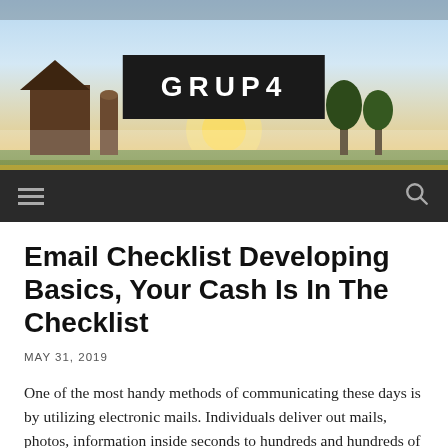[Figure (photo): Rural landscape header photo with a barn, trees, and sunrise sky. Dark box overlay in the center contains the site logo.]
GRUP4
Email Checklist Developing Basics, Your Cash Is In The Checklist
MAY 31, 2019
One of the most handy methods of communicating these days is by utilizing electronic mails. Individuals deliver out mails, photos, information inside seconds to hundreds and hundreds of thousands of individuals